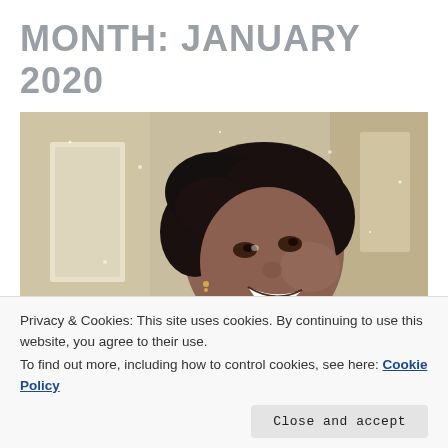MONTH: JANUARY 2020
[Figure (photo): Portrait of a young Black woman smiling, looking upward, with her hand resting near her chin, wearing a light pink top. Indoor setting with neutral beige walls.]
Privacy & Cookies: This site uses cookies. By continuing to use this website, you agree to their use.
To find out more, including how to control cookies, see here: Cookie Policy
Close and accept